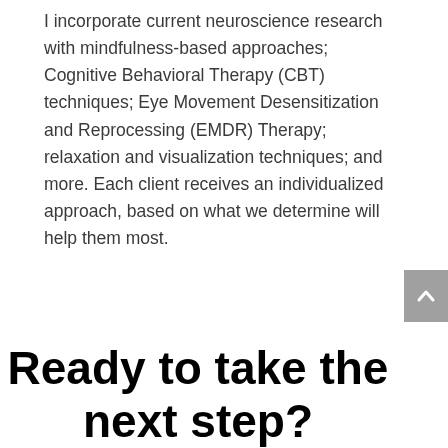I incorporate current neuroscience research with mindfulness-based approaches; Cognitive Behavioral Therapy (CBT) techniques; Eye Movement Desensitization and Reprocessing (EMDR) Therapy; relaxation and visualization techniques; and more. Each client receives an individualized approach, based on what we determine will help them most.
Ready to take the next step?